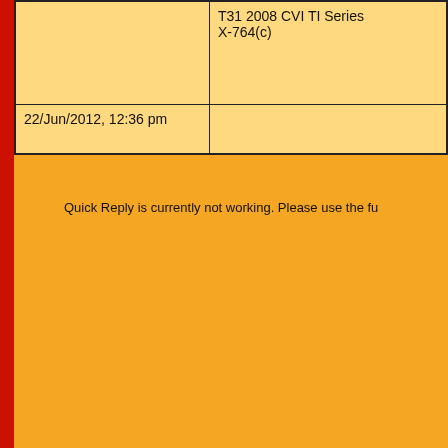|  | T31 2008 CVI TI Series X-764(c) |
| 22/Jun/2012, 12:36 pm |  |
Quick Reply is currently not working. Please use the fu